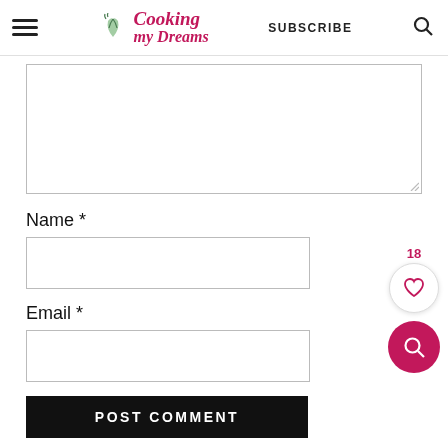Cooking my Dreams — SUBSCRIBE (navigation header with hamburger menu and search icon)
[Figure (screenshot): Large empty comment text area input box with resize handle at bottom right]
Name *
[Figure (screenshot): Name input field, empty text box]
Email *
[Figure (screenshot): Email input field, empty text box]
POST COMMENT
[Figure (infographic): Floating action buttons on right side: heart/like button with count 18, and pink search button]